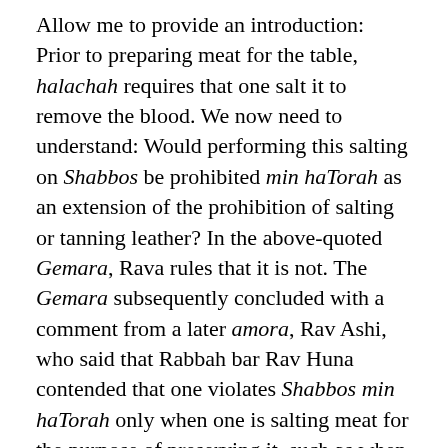Allow me to provide an introduction: Prior to preparing meat for the table, halachah requires that one salt it to remove the blood. We now need to understand: Would performing this salting on Shabbos be prohibited min haTorah as an extension of the prohibition of salting or tanning leather? In the above-quoted Gemara, Rava rules that it is not. The Gemara subsequently concluded with a comment from a later amora, Rav Ashi, who said that Rabbah bar Rav Huna contended that one violates Shabbos min haTorah only when one is salting meat for the purpose of preserving it, such as when he intends to pack for a lengthy trip. Only this type of salting can possibly be included in the Torah violation of me'abeid. However, salting meat to make it kosher for the Jewish table is certainly not a Torah violation of me'abeid. The Aruch Hashulchan (321:29) explains that salting hides is prohibited min haTorah, because this is one stage in the process of